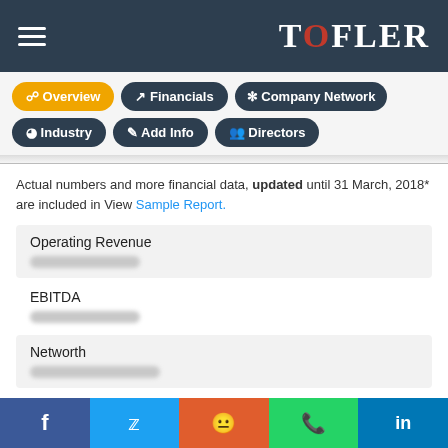Tofler - Overview | Financials | Company Network | Industry | Add Info | Directors
Actual numbers and more financial data, updated until 31 March, 2018* are included in View Sample Report.
Operating Revenue
EBITDA
Networth
Debt/Equity Ratio
Facebook | Twitter | Reddit | WhatsApp | LinkedIn